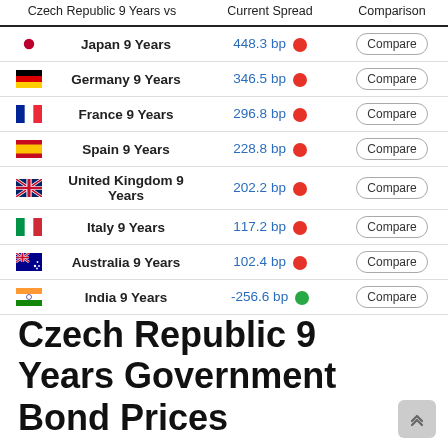| Czech Republic 9 Years vs |  | Current Spread | Comparison |
| --- | --- | --- | --- |
| Japan 9 Years | 448.3 bp | Compare |
| Germany 9 Years | 346.5 bp | Compare |
| France 9 Years | 296.8 bp | Compare |
| Spain 9 Years | 228.8 bp | Compare |
| United Kingdom 9 Years | 202.2 bp | Compare |
| Italy 9 Years | 117.2 bp | Compare |
| Australia 9 Years | 102.4 bp | Compare |
| India 9 Years | -256.6 bp | Compare |
Czech Republic 9 Years Government Bond Prices